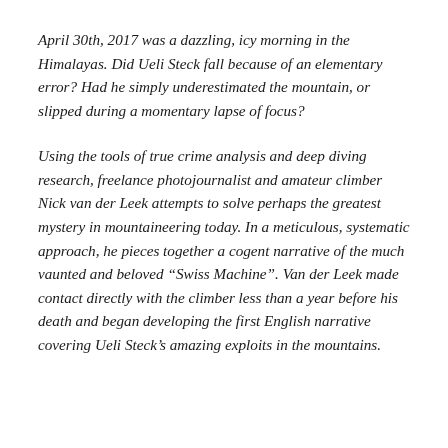April 30th, 2017 was a dazzling, icy morning in the Himalayas. Did Ueli Steck fall because of an elementary error? Had he simply underestimated the mountain, or slipped during a momentary lapse of focus?
Using the tools of true crime analysis and deep diving research, freelance photojournalist and amateur climber Nick van der Leek attempts to solve perhaps the greatest mystery in mountaineering today. In a meticulous, systematic approach, he pieces together a cogent narrative of the much vaunted and beloved “Swiss Machine”. Van der Leek made contact directly with the climber less than a year before his death and began developing the first English narrative covering Ueli Steck’s amazing exploits in the mountains.